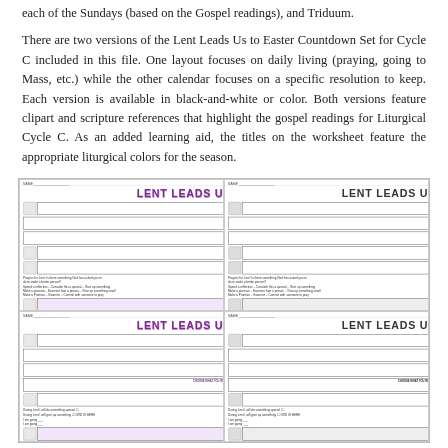each of the Sundays (based on the Gospel readings), and Triduum.
There are two versions of the Lent Leads Us to Easter Countdown Set for Cycle C included in this file. One layout focuses on daily living (praying, going to Mass, etc.) while the other calendar focuses on a specific resolution to keep. Each version is available in black-and-white or color. Both versions feature clipart and scripture references that highlight the gospel readings for Liturgical Cycle C. As an added learning aid, the titles on the worksheet feature the appropriate liturgical colors for the season.
[Figure (illustration): Preview of four versions of the Lent Leads Us to Easter student worksheet/countdown calendar, shown in a 2x2 grid. Top-left and bottom-left show color versions with purple title text. Top-right and bottom-right show black-and-white versions. Each sheet has a snake-like path of boxes for counting down days, clipart images, scripture references, and a watermark reading 'liturgicresourcesite.com'.]